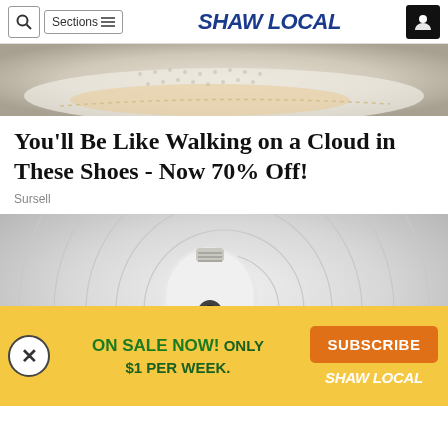SHAW LOCAL
[Figure (photo): Close-up photo of a white sneaker/shoe sole from above on a dark surface]
You'll Be Like Walking on a Cloud in These Shoes - Now 70% Off!
Sursell
[Figure (photo): Photo of a hand inserting a white light bulb (security camera bulb) into a socket, on a textured circular background]
ON SALE NOW! ONLY $1 PER WEEK.
SUBSCRIBE
SHAW LOCAL